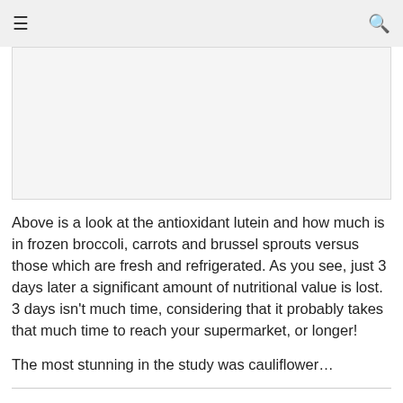☰  🔍
[Figure (other): Blank image placeholder area showing a chart or image about antioxidant lutein content in vegetables]
Above is a look at the antioxidant lutein and how much is in frozen broccoli, carrots and brussel sprouts versus those which are fresh and refrigerated. As you see, just 3 days later a significant amount of nutritional value is lost. 3 days isn't much time, considering that it probably takes that much time to reach your supermarket, or longer!
The most stunning in the study was cauliflower…